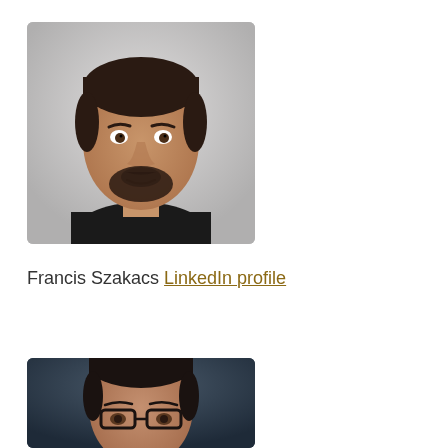[Figure (photo): Headshot of Francis Szakacs, a man with short dark hair and a dark beard, wearing a black shirt, against a light grey background.]
Francis Szakacs LinkedIn profile
[Figure (photo): Partial headshot of a man with dark hair wearing glasses, against a dark blue/grey background. Only the top portion of the face is visible.]